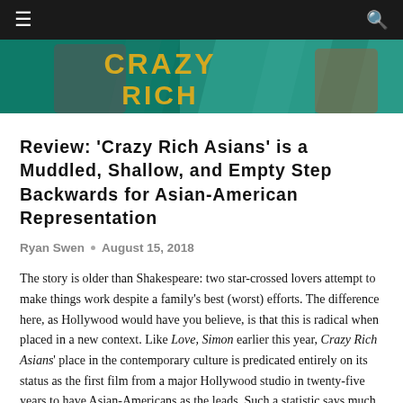≡  🔍
[Figure (photo): Hero image showing the 'Crazy Rich Asians' movie title text in gold letters on a teal/green background with partial view of actors]
Review: 'Crazy Rich Asians' is a Muddled, Shallow, and Empty Step Backwards for Asian-American Representation
Ryan Swen • August 15, 2018
The story is older than Shakespeare: two star-crossed lovers attempt to make things work despite a family's best (worst) efforts. The difference here, as Hollywood would have you believe, is that this is radical when placed in a new context. Like Love, Simon earlier this year, Crazy Rich Asians' place in the contemporary culture is predicated entirely on its status as the first film from a major Hollywood studio in twenty-five years to have Asian-Americans as the leads. Such a statistic says much, much more about the state of American commercial cinema than it necessarily does about the film,